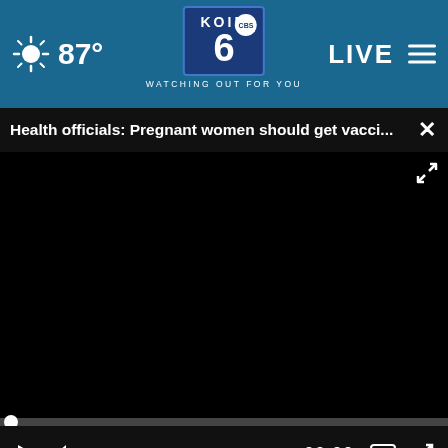87° KOIN 6 CBS - WATCHING OUT FOR YOU | LIVE
Health officials: Pregnant women should get vacci...
[Figure (screenshot): Video player showing black screen (video not playing), with scrubber bar, play button, mute button, time display 00:00, CC button, and fullscreen button]
[Figure (photo): Partial view of a person's head and shoulder, back of head visible, background grey]
Ashburn OPEN | 7:30AM–6PM
43781 Parkhurst Plaza, Ashburn